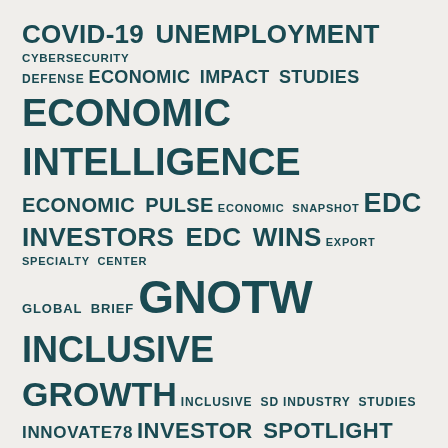COVID-19 UNEMPLOYMENT CYBERSECURITY DEFENSE ECONOMIC IMPACT STUDIES ECONOMIC INTELLIGENCE ECONOMIC PULSE ECONOMIC SNAPSHOT EDC INVESTORS EDC WINS EXPORT SPECIALTY CENTER GLOBAL BRIEF GNOTW INCLUSIVE GROWTH INCLUSIVE SD INDUSTRY STUDIES INNOVATE78 INVESTOR SPOTLIGHT LIFE SCIENCES MANUFACTURING MEET OUR BOARD METROCONNECT METROCONNECT VI MONTHLY REPORT REGIONAL SUPPORT REGIONAL SUPPORT Q1 2021 REGIONAL SUPPORT Q3 2020 REGIONAL SUPPORT Q4 2020